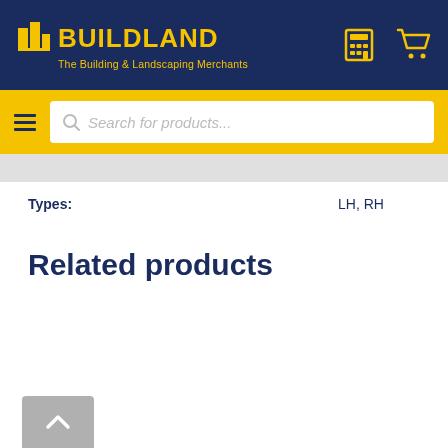[Figure (logo): Buildland logo - The Building & Landscaping Merchants, yellow text on dark navy background with calculator and cart icons]
[Figure (screenshot): Yellow navigation bar with hamburger menu and search bar placeholder 'Search for products...']
Types: LH, RH
Related products